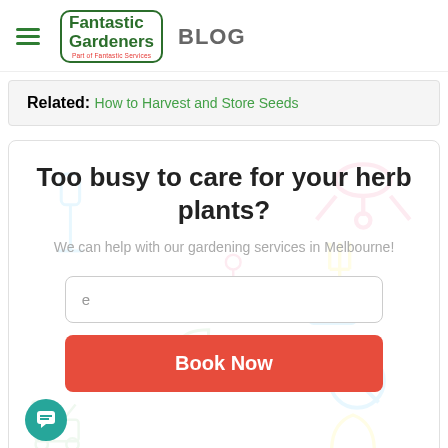Fantastic Gardeners BLOG
Related: How to Harvest and Store Seeds
Too busy to care for your herb plants?
We can help with our gardening services in Melbourne!
e
Book Now